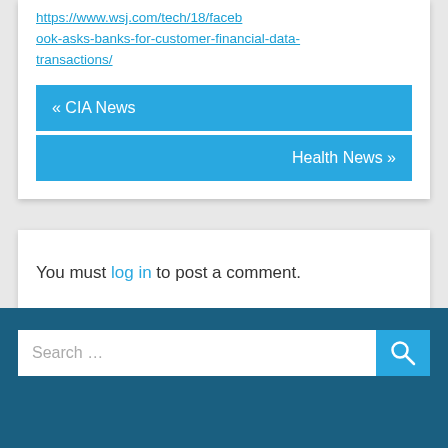https://www.wsj.com/tech/18/facebook-asks-banks-for-customer-financial-data-transactions/
« CIA News
Health News »
You must log in to post a comment.
Search …